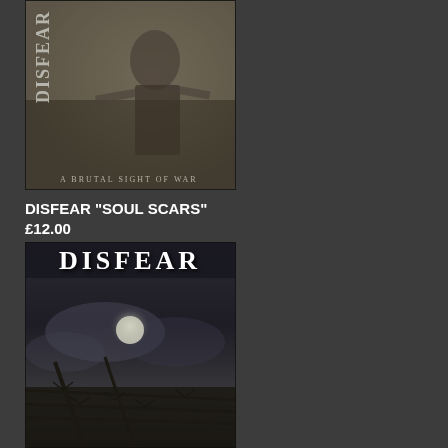[Figure (photo): Album cover for Disfear 'A Brutal Sight of War' — dark sepia-toned image showing a figure in robes with 'DISFEAR' text vertically on the left and 'A BRUTAL SIGHT OF WAR' text at the bottom]
DISFEAR "SOUL SCARS"
£12.00
[Figure (photo): Album cover for Disfear 'Soul Scars' — dark black and white image showing gothic 'DISFEAR' logo at top, barbed wire in foreground, and a glowing moon in cloudy night sky]